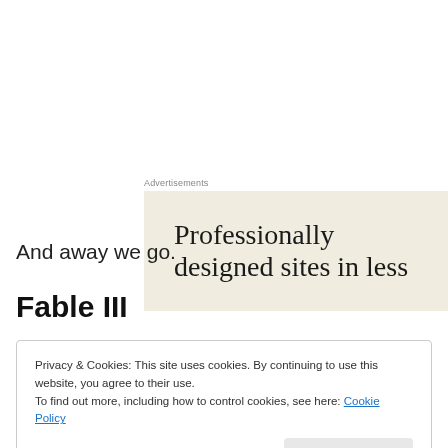[Figure (other): Advertisement banner with beige/cream background showing text 'Professionally designed sites in less']
And away we go.
Fable III
Privacy & Cookies: This site uses cookies. By continuing to use this website, you agree to their use.
To find out more, including how to control cookies, see here: Cookie Policy
Close and accept